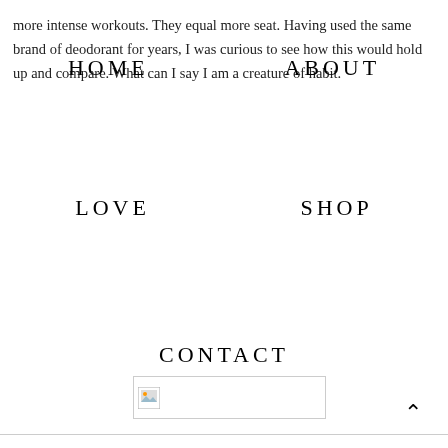HOME   ABOUT
more intense workouts. They equal more seat. Having used the same brand of deodorant for years, I was curious to see how this would hold up and compare. What can I say I am a creature of habit.
LOVE   SHOP
CONTACT
[Figure (photo): Broken image placeholder with small image icon]
^